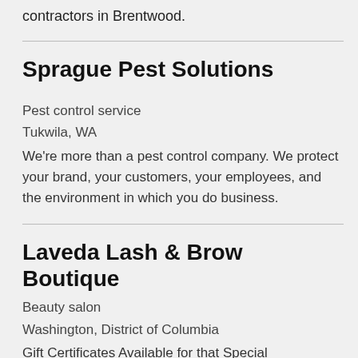contractors in Brentwood.
Sprague Pest Solutions
Pest control service
Tukwila, WA
We're more than a pest control company. We protect your brand, your customers, your employees, and the environment in which you do business.
Laveda Lash & Brow Boutique
Beauty salon
Washington, District of Columbia
Gift Certificates Available for that Special